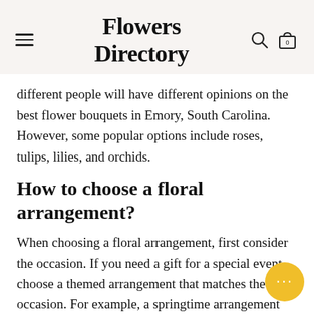Flowers Directory
different people will have different opinions on the best flower bouquets in Emory, South Carolina. However, some popular options include roses, tulips, lilies, and orchids.
How to choose a floral arrangement?
When choosing a floral arrangement, first consider the occasion. If you need a gift for a special event, choose a themed arrangement that matches the occasion. For example, a springtime arrangement might include flowers like tulips, roses, and. If you need a Get Well Soon gift, send an arrangement with bright colors and cheerful